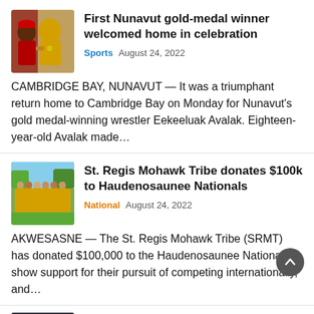[Figure (photo): Photo of a person in a yellow jacket with a medal, shaking hands at a sporting event]
First Nunavut gold-medal winner welcomed home in celebration
Sports   August 24, 2022
CAMBRIDGE BAY, NUNAVUT — It was a triumphant return home to Cambridge Bay on Monday for Nunavut's gold medal-winning wrestler Eekeeluak Avalak. Eighteen-year-old Avalak made…
[Figure (photo): Group photo of sports team in yellow uniforms on a field]
St. Regis Mohawk Tribe donates $100k to Haudenosaunee Nationals
National   August 24, 2022
AKWESASNE — The St. Regis Mohawk Tribe (SRMT) has donated $100,000 to the Haudenosaunee Nationals to show support for their pursuit of competing internationally, and…
[Figure (photo): Partial thumbnail for a third article]
Coaches and Managers call out for NAIG